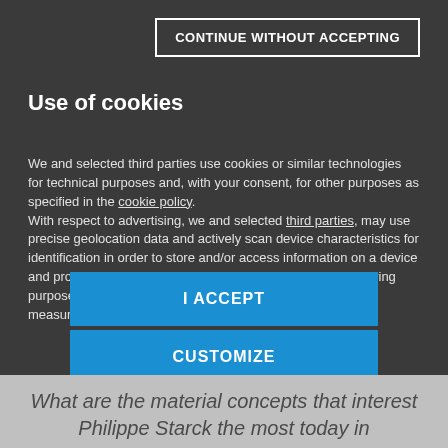CONTINUE WITHOUT ACCEPTING
Use of cookies
We and selected third parties use cookies or similar technologies for technical purposes and, with your consent, for other purposes as specified in the cookie policy.
With respect to advertising, we and selected third parties, may use precise geolocation data and actively scan device characteristics for identification in order to store and/or access information on a device and process personal data like your usage data for the following purposes: personalized ads and content, ad and content measurement, audience insights and product development.
I ACCEPT
CUSTOMIZE
[Figure (logo): Mondadori Media logo with red triangle/M icon and white MONDADORI MEDIA text]
What are the material concepts that interest Philippe Starck the most today in